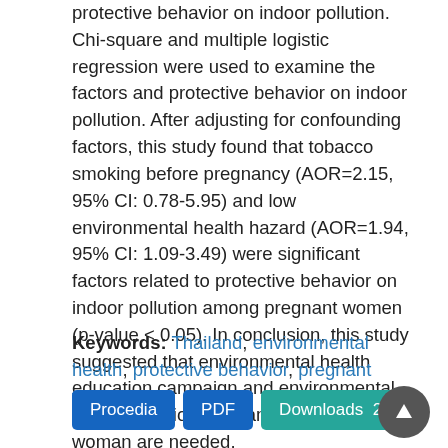protective behavior on indoor pollution. Chi-square and multiple logistic regression were used to examine the factors and protective behavior on indoor pollution. After adjusting for confounding factors, this study found that tobacco smoking before pregnancy (AOR=2.15, 95% CI: 0.78-5.95) and low environmental health hazard (AOR=1.94, 95% CI: 1.09-3.49) were significant factors related to protective behavior on indoor pollution among pregnant women (p-value < 0.05). In conclusion, this study suggested that environmental health education campaign and environmental implementation program among pregnant woman are needed.
Keywords: Thailand, environmental health, protective behavior, pregnant women
Procedia | PDF | Downloads 285